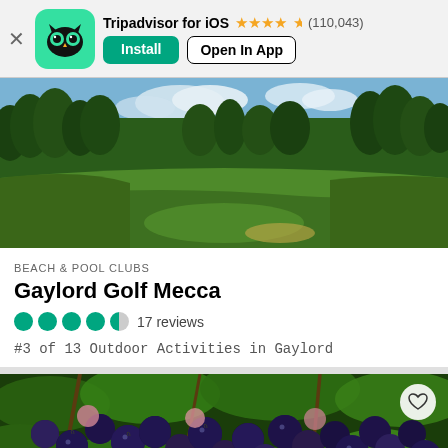Tripadvisor for iOS ★★★★½ (110,043) Install | Open In App
[Figure (photo): Golf course fairway surrounded by trees under partly cloudy sky]
BEACH & POOL CLUBS
Gaylord Golf Mecca
●●●●◐ 17 reviews
#3 of 13 Outdoor Activities in Gaylord
[Figure (photo): Close-up of ripe blueberries on a bush with green leaves]